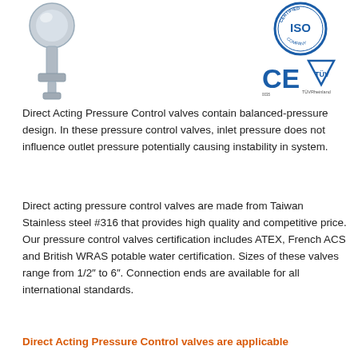[Figure (illustration): Stainless steel direct acting pressure control valve illustration - top portion visible]
[Figure (logo): ISO certified company circular badge logo and CE TUV Rheinland certification marks]
Direct Acting Pressure Control valves contain balanced-pressure design. In these pressure control valves, inlet pressure does not influence outlet pressure potentially causing instability in system.
Direct acting pressure control valves are made from Taiwan Stainless steel #316 that provides high quality and competitive price. Our pressure control valves certification includes ATEX, French ACS and British WRAS potable water certification. Sizes of these valves range from 1/2″ to 6″. Connection ends are available for all international standards.
Direct Acting Pressure Control valves are applicable